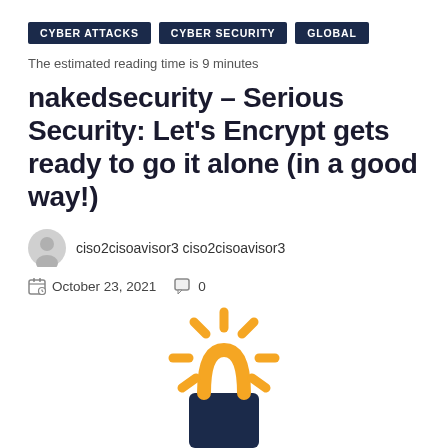CYBER ATTACKS  CYBER SECURITY  GLOBAL
The estimated reading time is 9 minutes
nakedsecurity – Serious Security: Let's Encrypt gets ready to go it alone (in a good way!)
ciso2cisoavisor3 ciso2cisoavisor3
October 23, 2021   0
[Figure (illustration): Stylized glowing padlock icon with orange sun rays around a dark navy lock body with an orange shackle, suggesting encryption or security.]